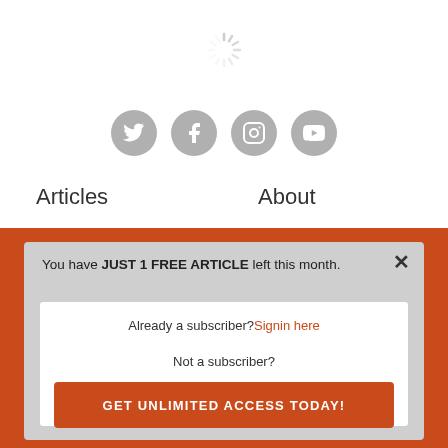[Figure (illustration): Loading spinner icon in light gray]
[Figure (illustration): Social media icons row: Twitter, Facebook, Instagram, YouTube — gray circles]
Articles
About
Mindsets
Team
You have JUST 1 FREE ARTICLE left this month.
Already a subscriber? Signin here
Not a subscriber?
GET UNLIMITED ACCESS TODAY!